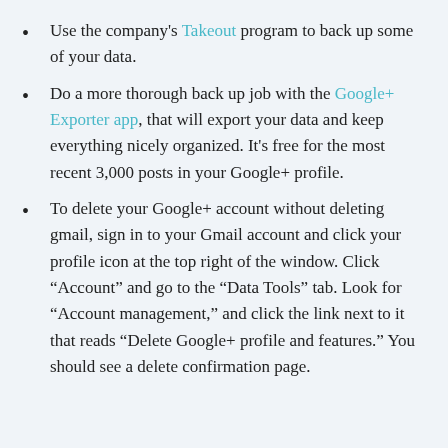Use the company's Takeout program to back up some of your data.
Do a more thorough back up job with the Google+ Exporter app, that will export your data and keep everything nicely organized. It's free for the most recent 3,000 posts in your Google+ profile.
To delete your Google+ account without deleting gmail, sign in to your Gmail account and click your profile icon at the top right of the window. Click “Account” and go to the “Data Tools” tab. Look for “Account management,” and click the link next to it that reads “Delete Google+ profile and features.” You should see a delete confirmation page.